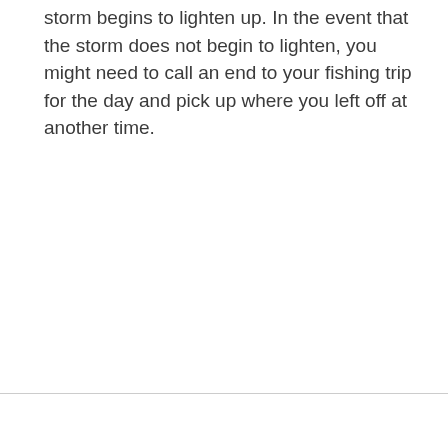storm begins to lighten up. In the event that the storm does not begin to lighten, you might need to call an end to your fishing trip for the day and pick up where you left off at another time.